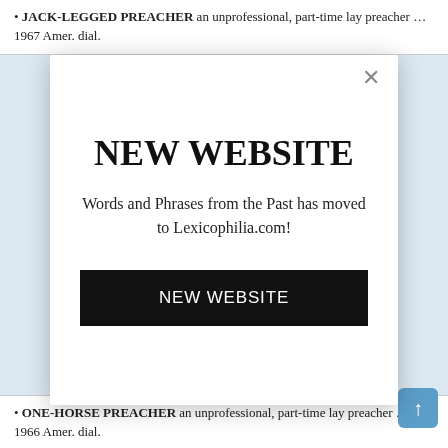JACK-LEGGED PREACHER an unprofessional, part-time lay preacher … 1967 Amer. dial.
NEW WEBSITE
Words and Phrases from the Past has moved to Lexicophilia.com!
NEW WEBSITE
ONE-HORSE PREACHER an unprofessional, part-time lay preacher … 1966 Amer. dial.